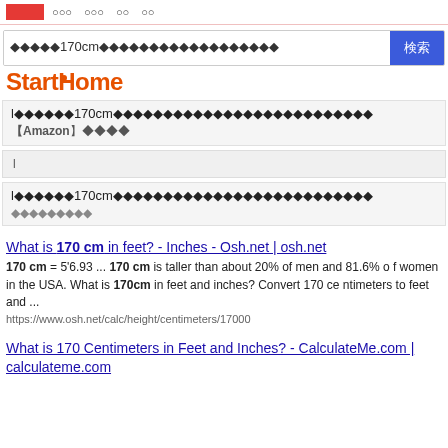[red box] ○○○ ○○○ ○○ ○○
◆◆◆◆◆170cm◆◆◆◆◆◆◆◆◆◆◆◆◆◆◆◆◆◆  検索
[Figure (logo): StartHome logo with orange text]
l◆◆◆◆◆◆170cm◆◆◆◆◆◆◆◆◆◆◆◆◆◆◆◆◆◆◆◆◆◆◆◆
【Amazon】◆◆◆◆
l
l◆◆◆◆◆◆170cm◆◆◆◆◆◆◆◆◆◆◆◆◆◆◆◆◆◆◆◆◆◆◆◆
◆◆◆◆◆◆◆◆◆
What is 170 cm in feet? - Inches - Osh.net | osh.net
170 cm = 5'6.93 ... 170 cm is taller than about 20% of men and 81.6% of women in the USA. What is 170cm in feet and inches? Convert 170 centimeters to feet and ...
https://www.osh.net/calc/height/centimeters/17000
What is 170 Centimeters in Feet and Inches? - CalculateMe.com | calculateme.com